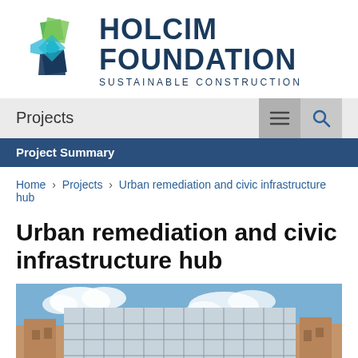[Figure (logo): Holcim Foundation logo with geometric diamond/star shape in green, blue, and teal colors, with text HOLCIM FOUNDATION SUSTAINABLE CONSTRUCTION]
Projects
Project Summary
Home › Projects › Urban remediation and civic infrastructure hub
Urban remediation and civic infrastructure hub
[Figure (photo): Photograph of a modern building with a glass/metal grid facade set against a blue sky with clouds, surrounded by older urban buildings]